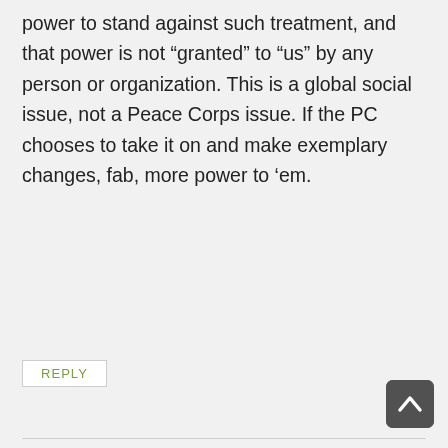power to stand against such treatment, and that power is not “granted” to “us” by any person or organization. This is a global social issue, not a Peace Corps issue. If the PC chooses to take it on and make exemplary changes, fab, more power to ’em.
REPLY
David Gurr says:
May 16, 2011 at 8:22 pm
Over the years, I saw the PC country director positions downgraded and then given to low lever political